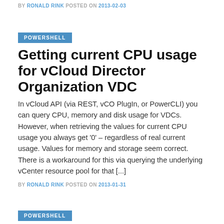BY RONALD RINK POSTED ON 2013-02-03
POWERSHELL
Getting current CPU usage for vCloud Director Organization VDC
In vCloud API (via REST, vCO PlugIn, or PowerCLI) you can query CPU, memory and disk usage for VDCs. However, when retrieving the values for current CPU usage you always get ‘0’ – regardless of real current usage. Values for memory and storage seem correct. There is a workaround for this via querying the underlying vCenter resource pool for that [...]
BY RONALD RINK POSTED ON 2013-01-31
POWERSHELL
Get vCenter Resource Pool from vCloud